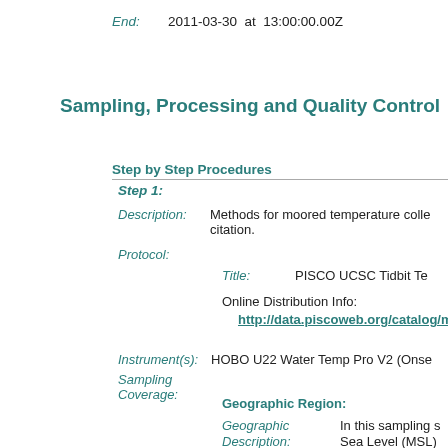End:   2011-03-30  at  13:00:00.00Z
Sampling, Processing and Quality Control
Step by Step Procedures
Step 1:
Description:   Methods for moored temperature collection and citation.
Protocol:
Title:   PISCO UCSC Tidbit Te
Online Distribution Info:
http://data.piscoweb.org/catalog/m
Instrument(s):   HOBO U22 Water Temp Pro V2 (Onse
Sampling Coverage:
Geographic Region:
Geographic Description:   In this sampling s Sea Level (MSL)